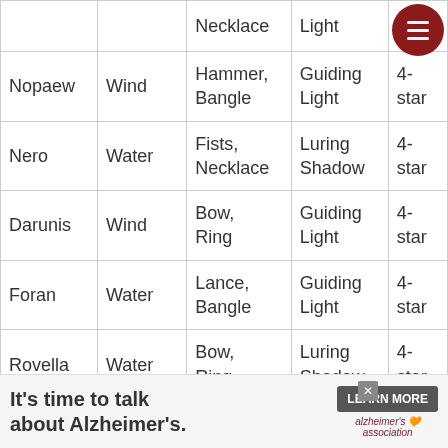| Name | Element | Equipment | Dungeon | Rarity |
| --- | --- | --- | --- | --- |
|  |  | Necklace | Light |  |
| Nopaew | Wind | Hammer, Bangle | Guiding Light | 4-star |
| Nero | Water | Fists, Necklace | Luring Shadow | 4-star |
| Darunis | Wind | Bow, Ring | Guiding Light | 4-star |
| Foran | Water | Lance, Bangle | Guiding Light | 4-star |
| Rovella | Water | Bow, Ring | Luring Shadow | 4-star |